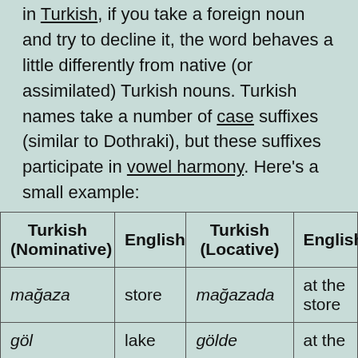in Turkish, if you take a foreign noun and try to decline it, the word behaves a little differently from native (or assimilated) Turkish nouns. Turkish names take a number of case suffixes (similar to Dothraki), but these suffixes participate in vowel harmony. Here's a small example:
| Turkish (Nominative) | English | Turkish (Locative) | English |
| --- | --- | --- | --- |
| mağaza | store | mağazada | at the store |
| göl | lake | gölde | at the |